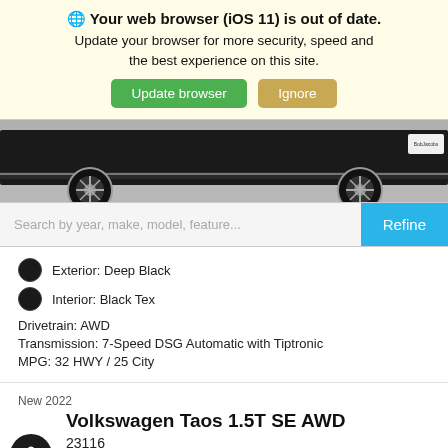🌐 Your web browser (iOS 11) is out of date. Update your browser for more security, speed and the best experience on this site.
Update browser | Ignore
[Figure (photo): Partial view of a dark Volkswagen SUV/crossover vehicle showing the lower body, wheels and side profile from a low angle in a showroom setting.]
Search by year, make, model, feature...
Refine
Exterior: Deep Black
Interior: Black Tex
Drivetrain: AWD
Transmission: 7-Speed DSG Automatic with Tiptronic
MPG: 32 HWY / 25 City
New 2022
Volkswagen Taos 1.5T SE AWD
23116
1PX7B29NM076940